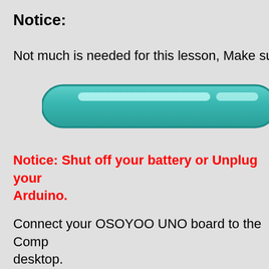Notice:
Not much is needed for this lesson, Make sure yo
[Figure (illustration): A rounded teal/green pill-shaped bar element with a glossy highlight, resembling a UI progress bar or button, extending beyond the right edge of the page.]
Notice: Shut off your battery or Unplug your Arduino.
Connect your OSOYOO UNO board to the Comp desktop.